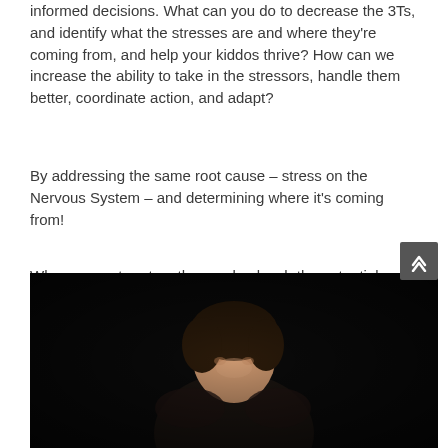informed decisions. What can you do to decrease the 3Ts, and identify what the stresses are and where they're coming from, and help your kiddos thrive? How can we increase the ability to take in the stressors, handle them better, coordinate action, and adapt?
By addressing the same root cause – stress on the Nervous System – and determining where it's coming from!
When we partner together, and unleash the potential stored in your child's nervous system, we often see:
[Figure (photo): Dark background photograph showing a child or young person, partially visible, with dark hair, against a black background]